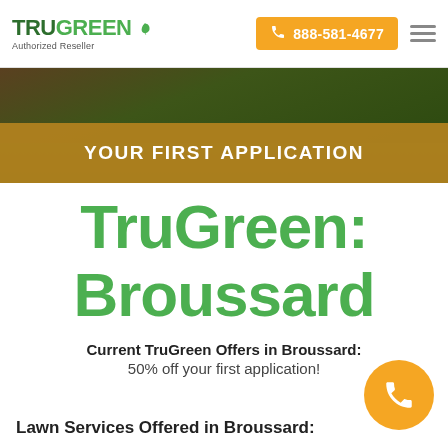TruGreen Authorized Reseller | 888-581-4677
[Figure (photo): Hero image of lawn/grass with orange banner overlay reading YOUR FIRST APPLICATION]
TruGreen: Broussard
Current TruGreen Offers in Broussard: 50% off your first application!
Lawn Services Offered in Broussard: